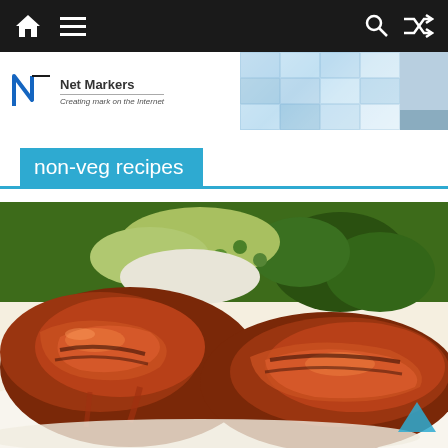Navigation bar with home, menu, search, and shuffle icons
[Figure (logo): Net Markers logo with tagline 'Creating mark on the Internet', alongside a pixelated blue banner and a turtle with blue cap image on the right]
non-veg recipes
[Figure (photo): Close-up photo of glazed BBQ grilled meat/steak with broccoli and salad in the background on a white plate]